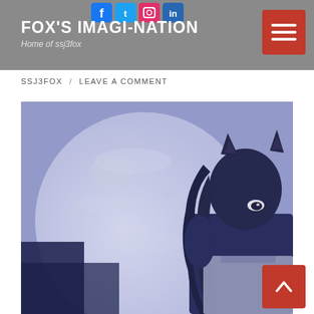FOX'S IMAGI-NATION
Home of ssj3fox
SSJ3FOX / LEAVE A COMMENT
[Figure (illustration): Anime-style illustration of a cat-girl character with dark hair and cat ears standing in front of a large full moon in a purple-blue night sky with clouds.]